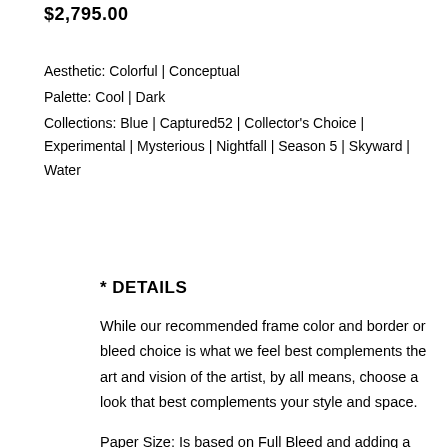$2,795.00
Aesthetic: Colorful | Conceptual
Palette: Cool | Dark
Collections: Blue | Captured52 | Collector’s Choice | Experimental | Mysterious | Nightfall | Season 5 | Skyward | Water
* DETAILS
While our recommended frame color and border or bleed choice is what we feel best complements the art and vision of the artist, by all means, choose a look that best complements your style and space.
Paper Size: Is based on Full Bleed and adding a border